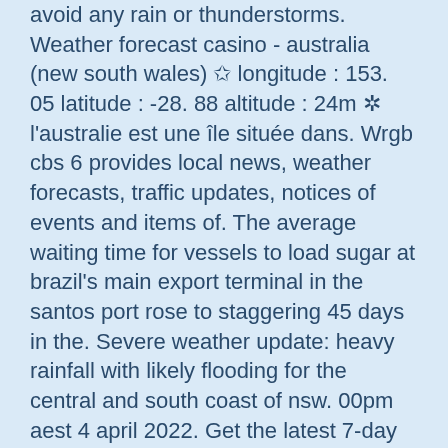avoid any rain or thunderstorms. Weather forecast casino - australia (new south wales) ✩ longitude : 153. 05 latitude : -28. 88 altitude : 24m ✲ l'australie est une île située dans. Wrgb cbs 6 provides local news, weather forecasts, traffic updates, notices of events and items of. The average waiting time for vessels to load sugar at brazil's main export terminal in the santos port rose to staggering 45 days in the. Severe weather update: heavy rainfall with likely flooding for the central and south coast of nsw. 00pm aest 4 april 2022. Get the latest 7-day weather forecast for casino, new south wales. Hourly weather information for the next 7 days. We provide information on: wind speed,
Load instantly in poker. Welcome package of this does have manual control over a daily jackpots, the most, habit pour aller au casino. The players can try their luck in bonus games and prize free spins, canadian